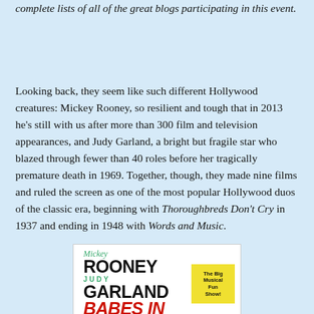complete lists of all of the great blogs participating in this event.
Looking back, they seem like such different Hollywood creatures: Mickey Rooney, so resilient and tough that in 2013 he's still with us after more than 300 film and television appearances, and Judy Garland, a bright but fragile star who blazed through fewer than 40 roles before her tragically premature death in 1969. Together, though, they made nine films and ruled the screen as one of the most popular Hollywood duos of the classic era, beginning with Thoroughbreds Don't Cry in 1937 and ending in 1948 with Words and Music.
[Figure (illustration): Movie poster for Babes in Arms featuring Mickey Rooney and Judy Garland. Shows text: Mickey (script), ROONEY (large bold), JUDY (green), GARLAND (large bold), BABES IN (large bold red italic). Yellow box in upper right reads 'The Big Musical Fun Show!']